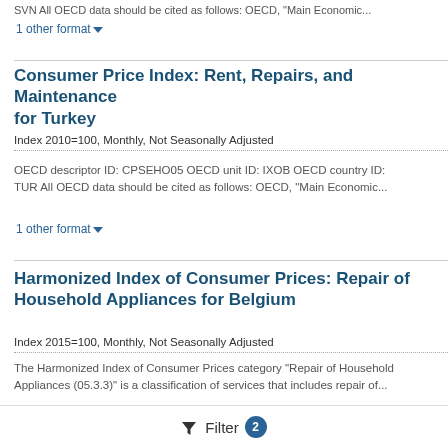SVN All OECD data should be cited as follows: OECD, "Main Economic...
1 other format ▾
Consumer Price Index: Rent, Repairs, and Maintenance for Turkey
Index 2010=100, Monthly, Not Seasonally Adjusted
OECD descriptor ID: CPSEHO05 OECD unit ID: IXOB OECD country ID: TUR All OECD data should be cited as follows: OECD, "Main Economic...
1 other format ▾
Harmonized Index of Consumer Prices: Repair of Household Appliances for Belgium
Index 2015=100, Monthly, Not Seasonally Adjusted
The Harmonized Index of Consumer Prices category "Repair of Household Appliances (05.3.3)" is a classification of services that includes repair of...
🔽 Filter 2